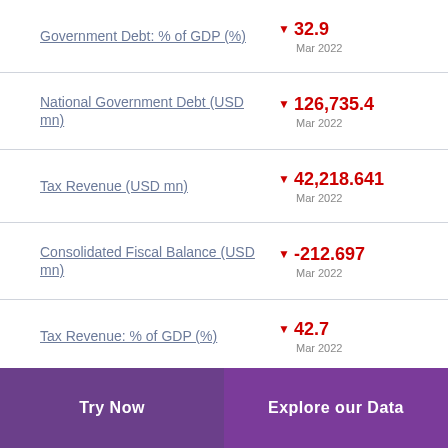Government Debt: % of GDP (%) ▼ 32.9 Mar 2022
National Government Debt (USD mn) ▼ 126,735.4 Mar 2022
Tax Revenue (USD mn) ▼ 42,218.641 Mar 2022
Consolidated Fiscal Balance (USD mn) ▼ -212.697 Mar 2022
Tax Revenue: % of GDP (%) ▼ 42.7 Mar 2022
Try Now | Explore our Data